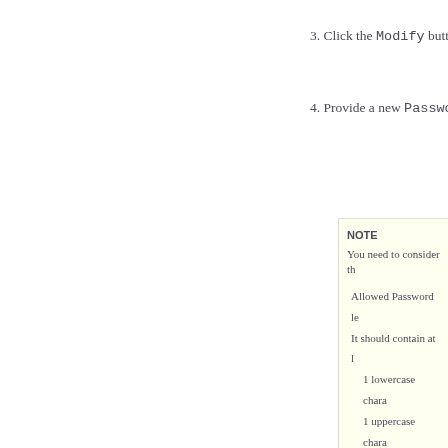3. Click the Modify button.
4. Provide a new Password.
NOTE
You need to consider th

Allowed Password le

It should contain at l

1 lowercase chara

1 uppercase chara

1 number

1 special characte

Change the Passwor

Avoid Password that